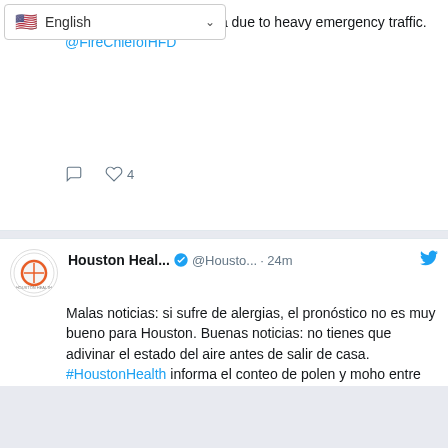[Figure (screenshot): Language selector dropdown showing English with US flag]
ted. Please avoid the area due to heavy emergency traffic. @FireChiefofHFD
Houston Heal... @Housto... · 24m
Malas noticias: si sufre de alergias, el pronóstico no es muy bueno para Houston. Buenas noticias: no tienes que adivinar el estado del aire antes de salir de casa. #HoustonHealth informa el conteo de polen y moho entre semana aquí: houstontx.gov/health/Pollen-...
[Figure (photo): Image of plants/pollen with orange text on dark blue background reading REVISA EL CONTEO para planificar]